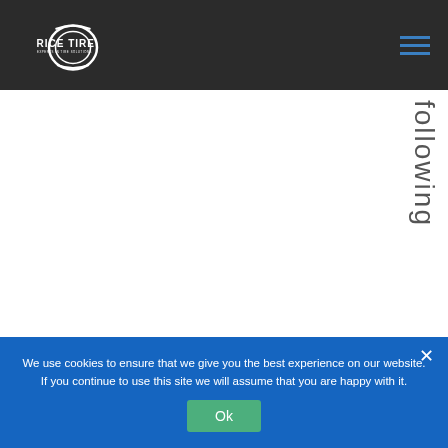Rice Tire — Experts in Tire Solutions
following
We use cookies to ensure that we give you the best experience on our website. If you continue to use this site we will assume that you are happy with it.
Ok